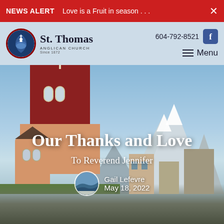NEWS ALERT   Love is a Fruit in season . . .
[Figure (logo): St. Thomas Anglican Church logo with circular emblem and text, alongside phone number 604-792-8521, Facebook icon, and Menu navigation]
[Figure (photo): Hero image of St. Thomas Anglican Church building with red brick steeple and mountain backdrop, overlaid with text: 'Our Thanks and Love', 'To Reverend Jennifer', author 'Gail Lefevre', date 'May 18, 2022']
Our Thanks and Love
To Reverend Jennifer
Gail Lefevre
May 18, 2022